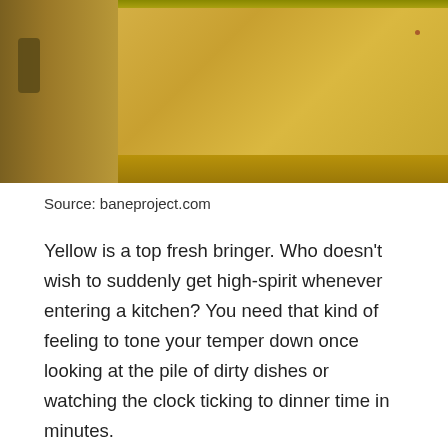[Figure (photo): Partial view of yellow kitchen cabinets with wooden shelf and cabinet door handle visible against warm yellow background]
Source: baneproject.com
Yellow is a top fresh bringer. Who doesn’t wish to suddenly get high-spirit whenever entering a kitchen? You need that kind of feeling to tone your temper down once looking at the pile of dirty dishes or watching the clock ticking to dinner time in minutes.
You can consider this backsplash style for instant mood boaster. The backsplash looks so fresh thanks for the brightest shade of yellow tiles. Each of the tile in this backsplash contains the yellow shade diagonals and grey